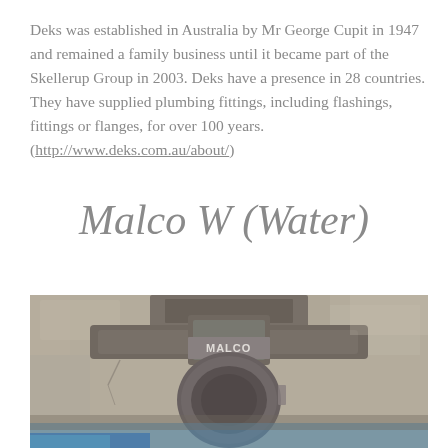Deks was established in Australia by Mr George Cupit in 1947 and remained a family business until it became part of the Skellerup Group in 2003. Deks have a presence in 28 countries. They have supplied plumbing fittings, including flashings, fittings or flanges, for over 100 years. (http://www.deks.com.au/about/)
Malco W (Water)
[Figure (photo): Close-up photograph of a Malco branded metal water fitting or flange installed in concrete, with blue paint visible at the bottom.]